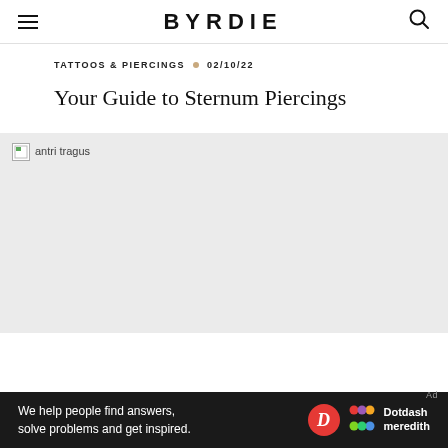BYRDIE
TATTOOS & PIERCINGS • 02/10/22
Your Guide to Sternum Piercings
[Figure (photo): Broken image placeholder with alt text 'antri tragus' on a light grey background]
We help people find answers, solve problems and get inspired. Dotdash meredith